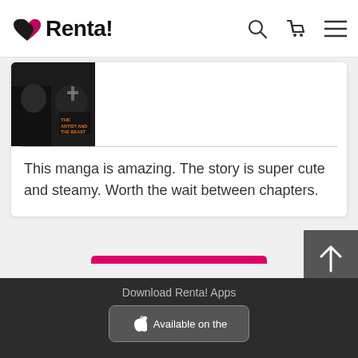Renta!
[Figure (illustration): Book cover thumbnail for 'The Artist and the Beast' manga, showing characters in dark clothing]
This manga is amazing. The story is super cute and steamy. Worth the wait between chapters.
Next10
Download Renta! Apps
Available on the